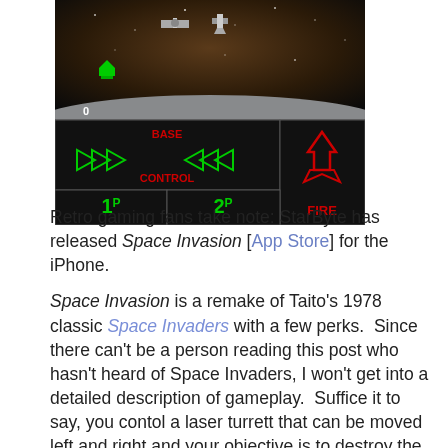[Figure (screenshot): Screenshot of Space Invasion game for iPhone showing space background with ships at top, a control panel with 'BASE CONTROL' in red text with green arrow ship icons, and buttons for '1P', '2P' in green and 'FIRE' in red on black background. A '0' score is shown on the left.]
Retro gaming fans take note: StarByte has released Space Invasion [App Store] for the iPhone.
Space Invasion is a remake of Taito's 1978 classic Space Invaders with a few perks. Since there can't be a person reading this post who hasn't heard of Space Invaders, I won't get into a detailed description of gameplay. Suffice it to say, you contol a laser turrett that can be moved left and right and your objective is to destroy the advancing alien horde. Aside from more lavish graphics than